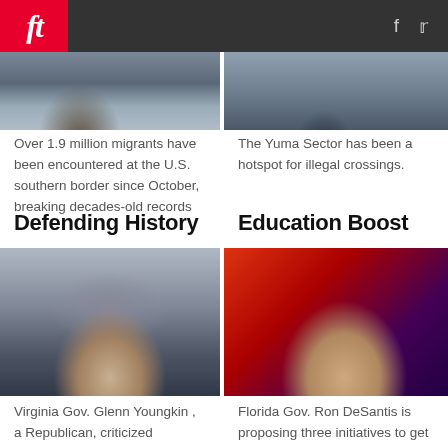ft
[Figure (photo): Top left photo: government seals/official setting]
[Figure (photo): Top right photo: person in dark suit]
Over 1.9 million migrants have been encountered at the U.S. southern border since October, breaking decades-old records
The Yuma Sector has been a hotspot for illegal crossings.
Defending History
Education Boost
[Figure (photo): Virginia Gov. Glenn Youngkin portrait, man in dark suit with red tie]
[Figure (photo): Florida Gov. Ron DeSantis portrait, man in dark suit with red/orange tie, red-blue background]
Virginia Gov. Glenn Youngkin , a Republican, criticized proposals
Florida Gov. Ron DeSantis is proposing three initiatives to get